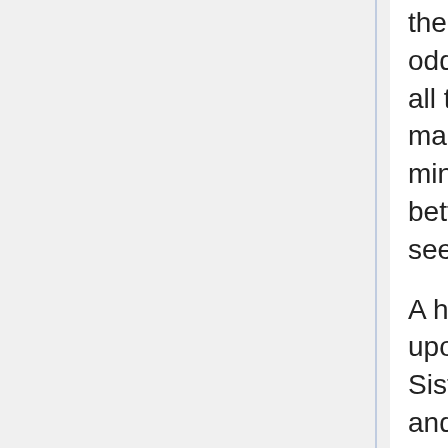there's still something missing here. "That's odd...where's the holiday hot chocolate? It has all those marshmellows in it..." Sure, the marshmellows were stale, but they were cut into miniture evergreen trees and snowmen. It's better than the plain hot chocolate she was seeing.
A head with full dull-silver hair perks up slightly upon seeing the one person out of the three Sister Schools that she could consider a friend, and a timid voice raises up from the grade schooler. "H-holiday mix? U-um...well, the Snow Festival i-isn't for a few months. Maybe someone f-finally threw out the old packages?"
Spoken softly or not, it's enough to have Niramo jumping in surprise. Just how